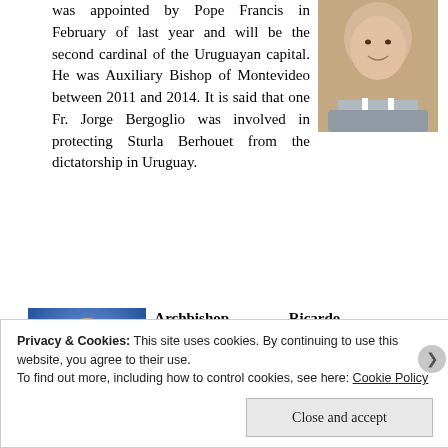was appointed by Pope Francis in February of last year and will be the second cardinal of the Uruguayan capital. He was Auxiliary Bishop of Montevideo between 2011 and 2014. It is said that one Fr. Jorge Bergoglio was involved in protecting Sturla Berhouet from the dictatorship in Uruguay.
[Figure (photo): Portrait photo of a middle-aged clergyman wearing a clerical collar, smiling, against a light background.]
Archbishop Ricardo Blázquez Pérez: The first Archbishop of Valladolid to be made a cardinal in almost...
[Figure (photo): Portrait photo of an elderly man with glasses and gray/bald head against a blue background.]
Privacy & Cookies: This site uses cookies. By continuing to use this website, you agree to their use.
To find out more, including how to control cookies, see here: Cookie Policy